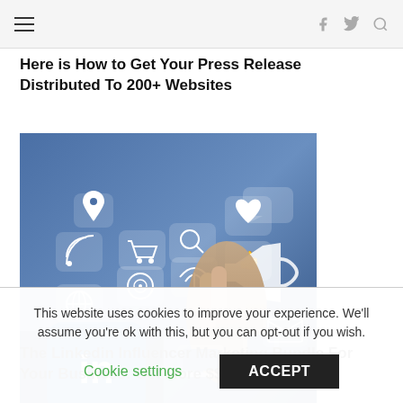≡  f  𝕏  🔍
Here is How to Get Your Press Release Distributed To 200+ Websites
[Figure (photo): A person's hand touching a digital social media interface with various icons including LinkedIn logo, thumbs up, envelope, globe, megaphone, heart, and other social network symbols on a dark blue abstract background]
The Linkedin Influencer Marketing Bundle For Your Business: Get More $$$
This website uses cookies to improve your experience. We'll assume you're ok with this, but you can opt-out if you wish.
Cookie settings   ACCEPT